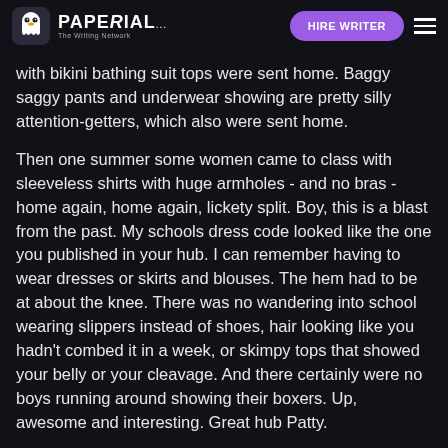PAPERIAL — HIRE WRITER
with bikini bathing suit tops were sent home. Baggy saggy pants and underwear showing are pretty silly attention-getters, which also were sent home.
Then one summer some women came to class with sleeveless shirts with huge armholes - and no bras - home again, home again, lickety split. Boy, this is a blast from the past. My schools dress code looked like the one you published in your hub. I can remember having to wear dresses or skirts and blouses. The hem had to be at about the knee. There was no wandering into school wearing slippers instead of shoes, hair looking like you hadn't combed it in a week, or skimpy tops that showed your belly or your cleavage. And there certainly were no boys running around showing their boxers. Up, awesome and interesting. Great hub Patty.
Sorry it took me so long to find it. You and I must